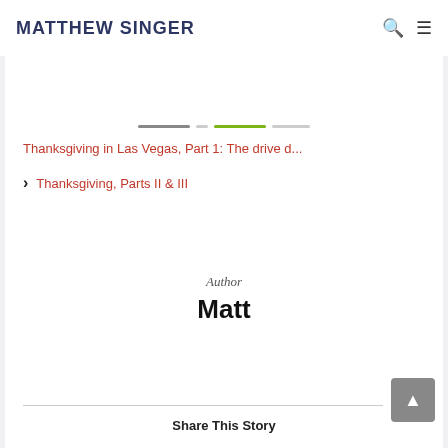MATTHEW SINGER
Thanksgiving in Las Vegas, Part 1: The drive d...
Thanksgiving, Parts II & III
Author
Matt
Share This Story